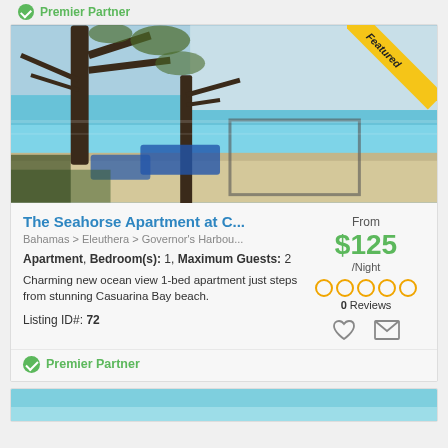Premier Partner
[Figure (photo): Beach photo with trees in foreground, turquoise ocean and sandy beach in background. Yellow 'Featured' diagonal banner in top-right corner.]
The Seahorse Apartment at C...
Bahamas > Eleuthera > Governor's Harbou...
From
$125
/Night
0 Reviews
Apartment, Bedroom(s): 1, Maximum Guests: 2
Charming new ocean view 1-bed apartment just steps from stunning Casuarina Bay beach.
Listing ID#: 72
Premier Partner
[Figure (photo): Partial view of another listing card with blue/teal image at bottom of page.]